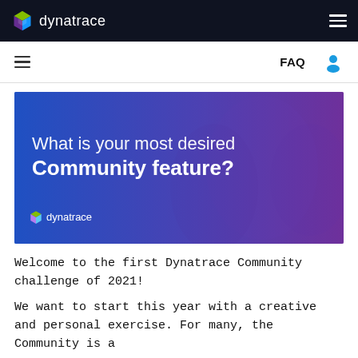dynatrace
[Figure (illustration): Banner image with blue-purple gradient background showing people in an office, with text overlay: 'What is your most desired Community feature?' and the Dynatrace logo in the lower left.]
Welcome to the first Dynatrace Community challenge of 2021!
We want to start this year with a creative and personal exercise. For many, the Community is a